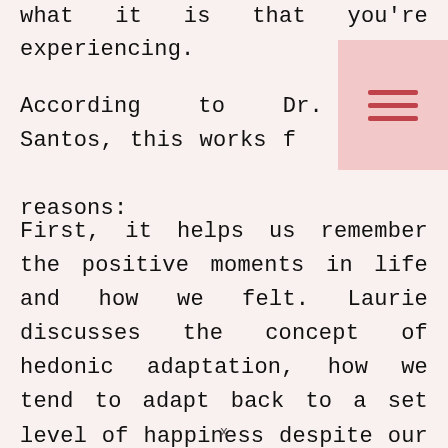what it is that you're experiencing.
According to Dr. Santos, this works for two reasons:
First, it helps us remember the positive moments in life and how we felt. Laurie discusses the concept of hedonic adaptation, how we tend to adapt back to a set level of happiness despite our highs and lows. Savoring the moment can help thwart this by allowing us to recall the positives.